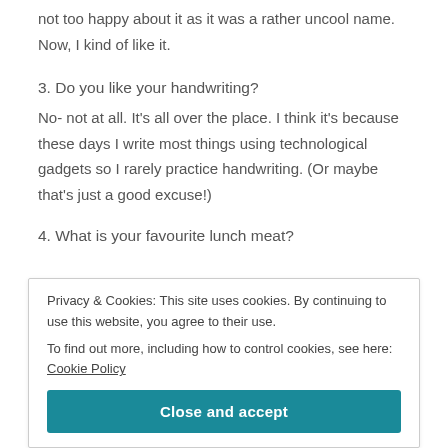not too happy about it as it was a rather uncool name. Now, I kind of like it.
3. Do you like your handwriting?
No- not at all. It's all over the place. I think it's because these days I write most things using technological gadgets so I rarely practice handwriting. (Or maybe that's just a good excuse!)
4. What is your favourite lunch meat?
Privacy & Cookies: This site uses cookies. By continuing to use this website, you agree to their use.
To find out more, including how to control cookies, see here: Cookie Policy
6. Longest relationship